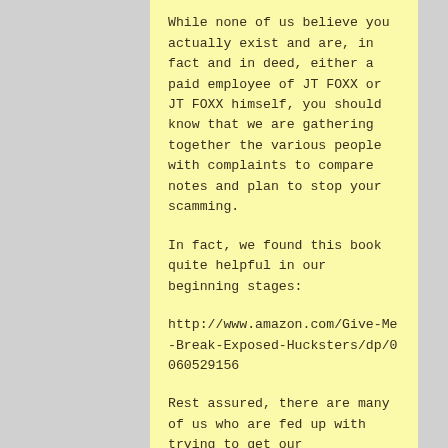While none of us believe you actually exist and are, in fact and in deed, either a paid employee of JT FOXX or JT FOXX himself, you should know that we are gathering together the various people with complaints to compare notes and plan to stop your scamming.
In fact, we found this book quite helpful in our beginning stages:
http://www.amazon.com/Give-Me-Break-Exposed-Hucksters/dp/0060529156
Rest assured, there are many of us who are fed up with trying to get our